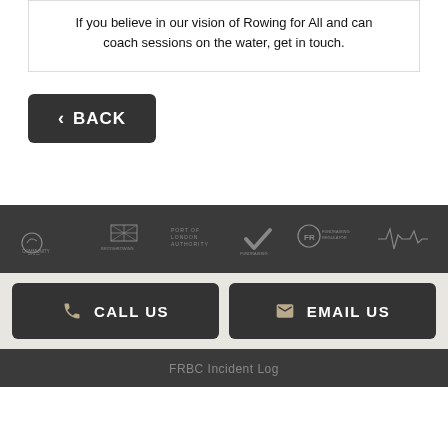If you believe in our vision of Rowing for All and can coach sessions on the water, get in touch.
< BACK
[Figure (logo): Footer logos: Community Fund, British Rowing, Port of London Authority, Fundraising check mark, FR Fundraising Regulator, and another organization logo]
CALL US
EMAIL US
FRBC Incident Log